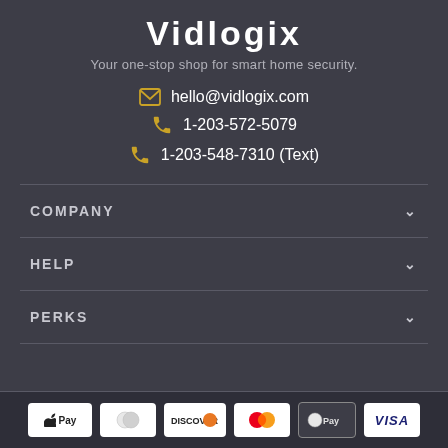Vidlogix
Your one-stop shop for smart home security.
hello@vidlogix.com
1-203-572-5079
1-203-548-7310 (Text)
COMPANY
HELP
PERKS
[Figure (other): Payment method icons: Apple Pay, Diners Club, Discover, Mastercard, Google Pay, Visa]